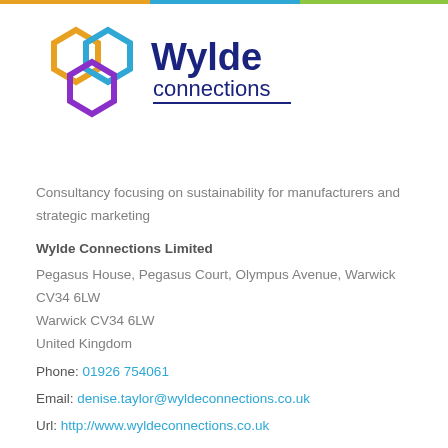[Figure (logo): Wylde Connections logo with three hexagons (orange, blue, purple) and text 'Wylde connections' in dark navy blue]
Consultancy focusing on sustainability for manufacturers and strategic marketing
Wylde Connections Limited
Pegasus House, Pegasus Court, Olympus Avenue, Warwick
CV34 6LW
Warwick CV34 6LW
United Kingdom
Phone: 01926 754061
Email: denise.taylor@wyldeconnections.co.uk
Url: http://www.wyldeconnections.co.uk